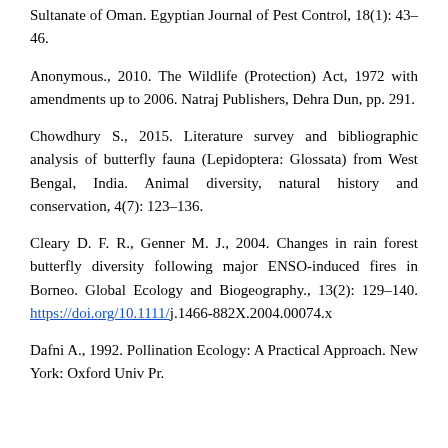Sultanate of Oman. Egyptian Journal of Pest Control, 18(1): 43–46.
Anonymous., 2010. The Wildlife (Protection) Act, 1972 with amendments up to 2006. Natraj Publishers, Dehra Dun, pp. 291.
Chowdhury S., 2015. Literature survey and bibliographic analysis of butterfly fauna (Lepidoptera: Glossata) from West Bengal, India. Animal diversity, natural history and conservation, 4(7): 123–136.
Cleary D. F. R., Genner M. J., 2004. Changes in rain forest butterfly diversity following major ENSO-induced fires in Borneo. Global Ecology and Biogeography., 13(2): 129–140. https://doi.org/10.1111/j.1466-882X.2004.00074.x
Dafni A., 1992. Pollination Ecology: A Practical Approach. New York: Oxford Univ Pr.